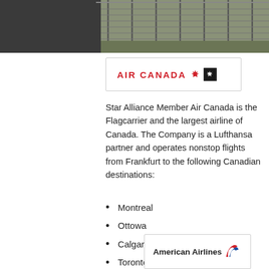[Figure (photo): Photograph of a fence or barrier structure, appears to be at an airport perimeter, with grey mesh fencing and ground vegetation visible.]
[Figure (logo): Air Canada logo with maple leaf symbol and Star Alliance icon]
Star Alliance Member Air Canada is the Flagcarrier and the largest airline of Canada. The Company is a Lufthansa partner and operates nonstop flights from Frankfurt to the following Canadian destinations:
Montreal
Ottowa
Calgary
Toronto
Vancouver
[Figure (logo): American Airlines logo with stylized eagle/wing mark in blue and red]